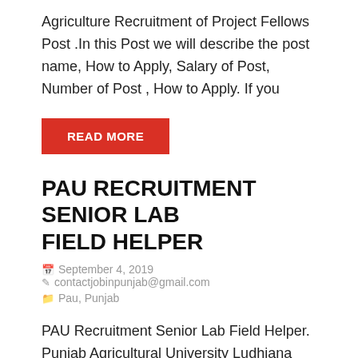Agriculture Recruitment of Project Fellows Post .In this Post we will describe the post name, How to Apply, Salary of Post, Number of Post , How to Apply. If you
READ MORE
PAU RECRUITMENT SENIOR LAB FIELD HELPER
September 4, 2019   contactjobinpunjab@gmail.com   Pau, Punjab
PAU Recruitment Senior Lab Field Helper. Punjab Agricultural University Ludhiana has given notification of 01 Senior Lab Field Helper Vacancies. Only Interested Candidate can apply for the Punjab Agricultural University Senior Lab Field Helper Vacancies